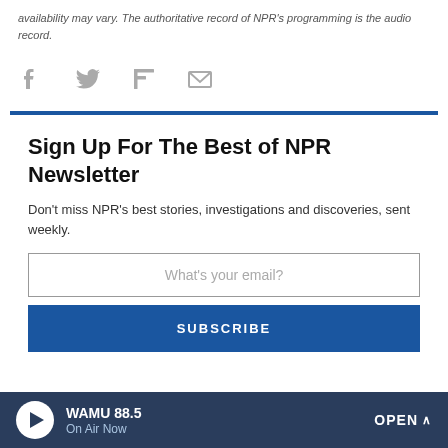availability may vary. The authoritative record of NPR's programming is the audio record.
[Figure (infographic): Social sharing icons: Facebook, Twitter, Flipboard, Email (envelope)]
Sign Up For The Best of NPR Newsletter
Don't miss NPR's best stories, investigations and discoveries, sent weekly.
What's your email?
SUBSCRIBE
WAMU 88.5 On Air Now OPEN